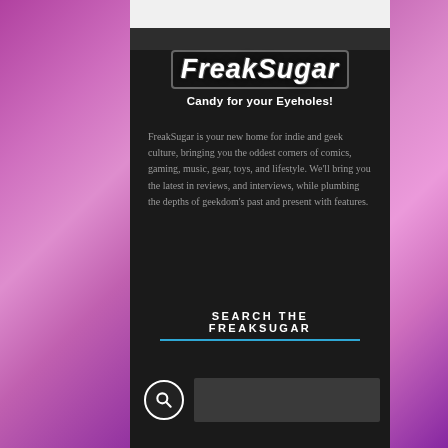FreakSugar
Candy for your Eyeholes!
FreakSugar is your new home for indie and geek culture, bringing you the oddest corners of comics, gaming, music, gear, toys, and lifestyle. We'll bring you the latest in reviews, and interviews, while plumbing the depths of geekdom's past and present with features.
SEARCH THE FREAKSUGAR
[Figure (other): Search box with magnifying glass icon and text input field]